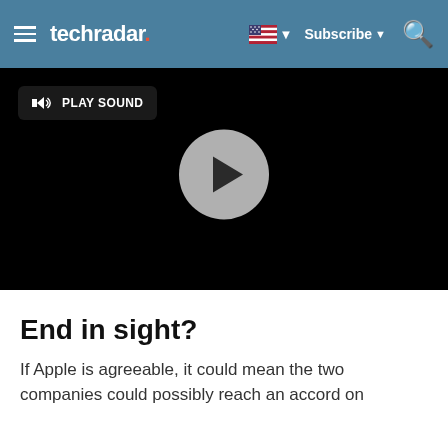techradar. Subscribe
[Figure (screenshot): Video player with black background, Play Sound button in top left, and a gray circular play button in the center]
End in sight?
If Apple is agreeable, it could mean the two companies could possibly reach an accord on